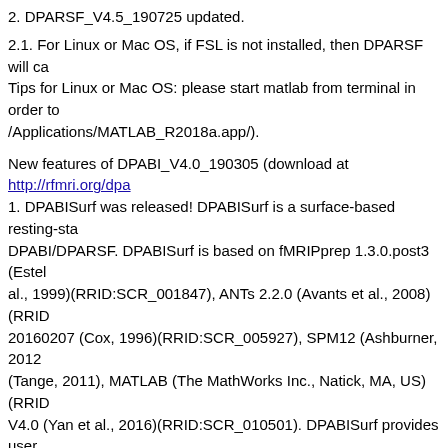2. DPARSF_V4.5_190725 updated.
2.1. For Linux or Mac OS, if FSL is not installed, then DPARSF will ca... Tips for Linux or Mac OS: please start matlab from terminal in order to... /Applications/MATLAB_R2018a.app/).
New features of DPABI_V4.0_190305 (download at http://rfmri.org/dpa... 1. DPABISurf was released! DPABISurf is a surface-based resting-sta... DPABI/DPARSF. DPABISurf is based on fMRIPprep 1.3.0.post3 (Estel... al., 1999)(RRID:SCR_001847), ANTs 2.2.0 (Avants et al., 2008)(RRID... 20160207 (Cox, 1996)(RRID:SCR_005927), SPM12 (Ashburner, 2012... (Tange, 2011), MATLAB (The MathWorks Inc., Natick, MA, US) (RRID... V4.0 (Yan et al., 2016)(RRID:SCR_010501). DPABISurf provides user... preprocessing, statistical analyses and results viewing, while requires... converts the user specified data into BIDS format (Gorgolewski et al.,... and functional MRI data, which integrates FreeSurfer, ANTs, FSL and A... surface space and MNI volume space. DPABISurf further performs nu... (volume-based data is processed as well), and then calculate the com... (Zang et al., 2007), fractional ALFF (Zou et al., 2008), regional homoge... based functional connectivity. DPABISurf also performs surface-based... metrics then enters surfaced-based statistical analyses within DPABIS... integrating PALM. Finally, the corrected results could be viewed by the...